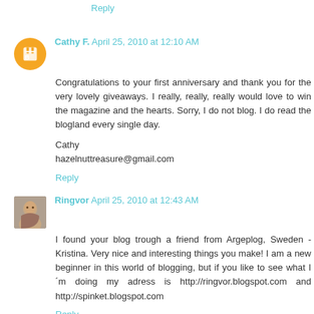Reply
Cathy F.  April 25, 2010 at 12:10 AM
Congratulations to your first anniversary and thank you for the very lovely giveaways. I really, really, really would love to win the magazine and the hearts. Sorry, I do not blog. I do read the blogland every single day.

Cathy
hazelnuttreasure@gmail.com
Reply
Ringvor  April 25, 2010 at 12:43 AM
I found your blog trough a friend from Argeplog, Sweden - Kristina. Very nice and interesting things you make! I am a new beginner in this world of blogging, but if you like to see what I´m doing my adress is http://ringvor.blogspot.com and http://spinket.blogspot.com
Reply